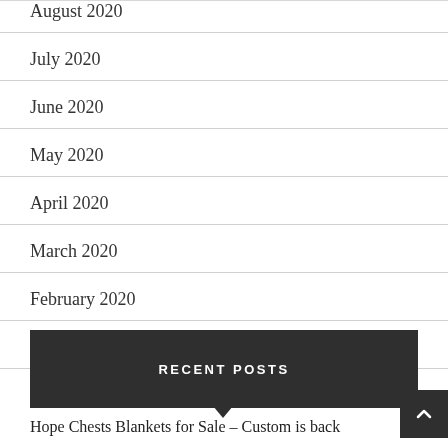August 2020
July 2020
June 2020
May 2020
April 2020
March 2020
February 2020
January 2020
RECENT POSTS
Hope Chests Blankets for Sale – Custom is back